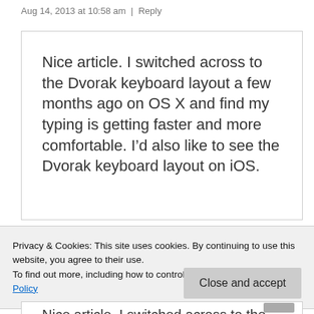Aug 14, 2013 at 10:58 am  |  Reply
Nice article. I switched across to the Dvorak keyboard layout a few months ago on OS X and find my typing is getting faster and more comfortable. I’d also like to see the Dvorak keyboard layout on iOS.
Privacy & Cookies: This site uses cookies. By continuing to use this website, you agree to their use.
To find out more, including how to control cookies, see here: Cookie Policy
Close and accept
Nice article. I switched across to the